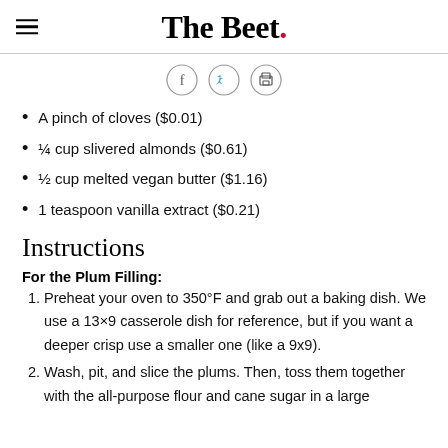The Beet.
[Figure (infographic): Social share icons: Facebook (f), Twitter (bird), and Print (printer) in circular outlines]
A pinch of cloves ($0.01)
¼ cup slivered almonds ($0.61)
½ cup melted vegan butter ($1.16)
1 teaspoon vanilla extract ($0.21)
Instructions
For the Plum Filling:
Preheat your oven to 350°F and grab out a baking dish. We use a 13×9 casserole dish for reference, but if you want a deeper crisp use a smaller one (like a 9x9).
Wash, pit, and slice the plums. Then, toss them together with the all-purpose flour and cane sugar in a large